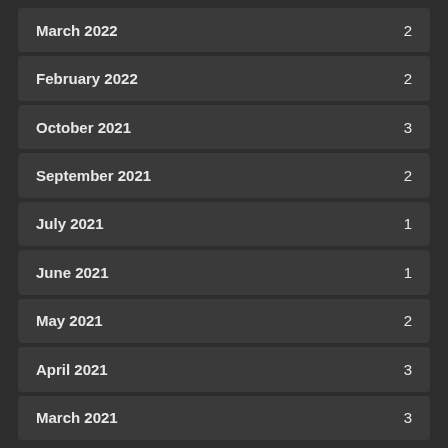March 2022  2
February 2022  2
October 2021  3
September 2021  2
July 2021  1
June 2021  1
May 2021  2
April 2021  3
March 2021  3